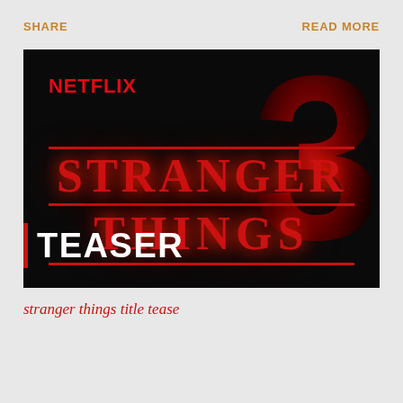SHARE    READ MORE
[Figure (screenshot): Netflix Stranger Things Season 3 teaser image with red NETFLIX logo, large stylized '3' in background, STRANGER THINGS text in red, and white TEASER label with red vertical bar]
stranger things title tease